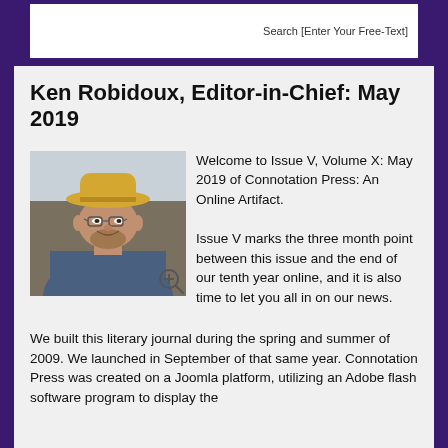Search [Enter Your Free-Text]
Ken Robidoux, Editor-in-Chief: May 2019
[Figure (photo): Photo of Ken Robidoux, a middle-aged man wearing a straw hat and glasses, smiling, in a blue shirt, indoors with window light behind him.]
Welcome to Issue V, Volume X: May 2019 of Connotation Press: An Online Artifact.

Issue V marks the three month point between this issue and the end of our tenth year online, and it is also time to let you all in on our news.
We built this literary journal during the spring and summer of 2009. We launched in September of that same year. Connotation Press was created on a Joomla platform, utilizing an Adobe flash software program to display the